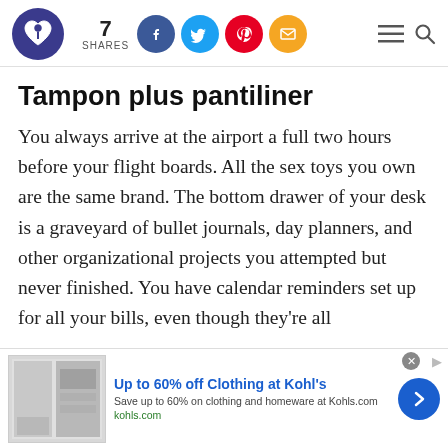7 SHARES [social share icons: Facebook, Twitter, Pinterest, Email] [hamburger menu] [search]
Tampon plus pantiliner
You always arrive at the airport a full two hours before your flight boards. All the sex toys you own are the same brand. The bottom drawer of your desk is a graveyard of bullet journals, day planners, and other organizational projects you attempted but never finished. You have calendar reminders set up for all your bills, even though they're all
[Figure (screenshot): Advertisement banner: Up to 60% off Clothing at Kohl's. Save up to 60% on clothing and homeware at Kohls.com. kohls.com. Shows a product image on the left and a blue arrow button on the right.]